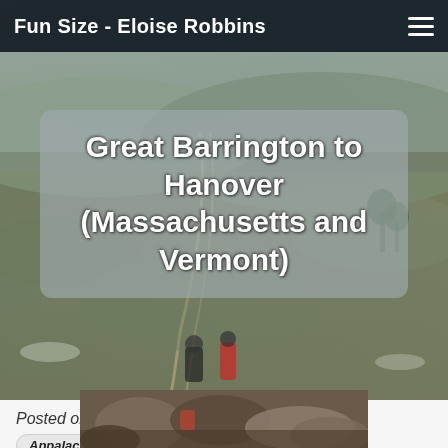Fun Size - Eloise Robbins
[Figure (photo): Aerial/elevated view of a valley landscape with rolling hills, sparse trees, and a winding road, partly overlaid by a semi-transparent title box. Two hikers visible at bottom of image.]
Great Barrington to Hanover (Massachusetts and Vermont)
Posted on: Tuesday May 15, 2018
Appalachian Trail
This post was written in my sleeping bag at the end of a long day. Please excuse any errors.
[Figure (photo): Close-up photo of rocks and hiking gear, partially visible at bottom of page.]